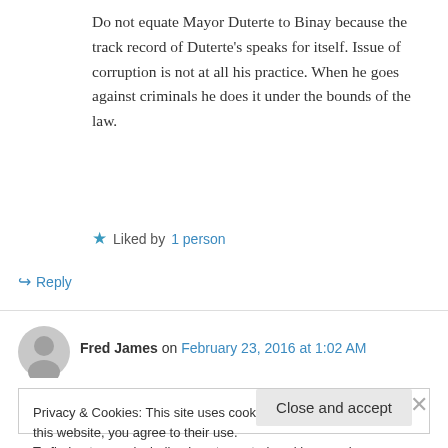Do not equate Mayor Duterte to Binay because the track record of Duterte's speaks for itself. Issue of corruption is not at all his practice. When he goes against criminals he does it under the bounds of the law.
★ Liked by 1 person
↪ Reply
Fred James on February 23, 2016 at 1:02 AM
Privacy & Cookies: This site uses cookies. By continuing to use this website, you agree to their use.
To find out more, including how to control cookies, see here: Cookie Policy